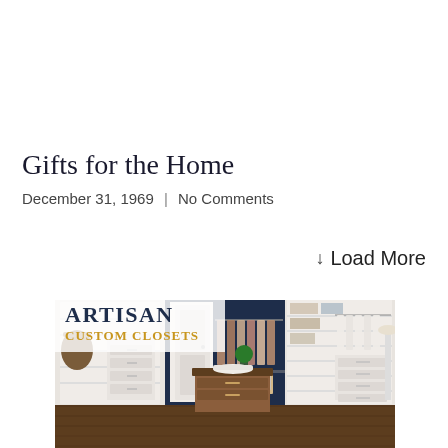Gifts for the Home
December 31, 1969 | No Comments
↓ Load More
[Figure (photo): Photo of a custom closet by Artisan Custom Closets, showing white built-in shelving, drawers, hanging rods with clothing, and a dark wood island dresser, with navy blue walls and the ARTISAN CUSTOM CLOSETS logo overlaid in the upper left corner.]